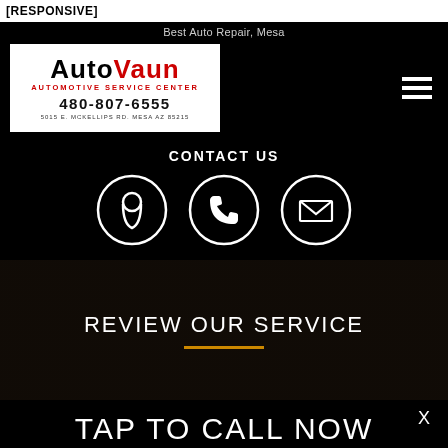[RESPONSIVE]
Best Auto Repair, Mesa
[Figure (logo): AutoVaun Automotive Service Center logo with phone 480-807-6555 and address 5015 E. McKellips Rd. Mesa AZ 85215]
CONTACT US
[Figure (infographic): Three circular contact icons: location pin, phone, and email/envelope]
REVIEW OUR SERVICE
X
TAP TO CALL NOW
480-807-6555